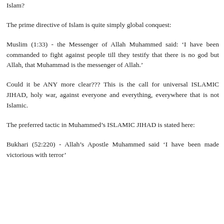Bali (twice), the centuries old ISLAMIC JIHAD against the Hindus & Sikhs in India, and of course the incineration of office workers in New York..... we have to ask....is all this hatred and violence because of us or is it because of Islam?
The prime directive of Islam is quite simply global conquest:
Muslim (1:33) - the Messenger of Allah Muhammed said: 'I have been commanded to fight against people till they testify that there is no god but Allah, that Muhammad is the messenger of Allah.'
Could it be ANY more clear??? This is the call for universal ISLAMIC JIHAD, holy war, against everyone and everything, everywhere that is not Islamic.
The preferred tactic in Muhammed's ISLAMIC JIHAD is stated here:
Bukhari (52:220) - Allah's Apostle Muhammed said 'I have been made victorious with terror'